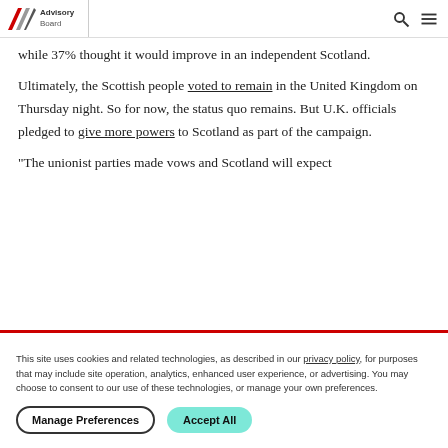Advisory Board
while 37% thought it would improve in an independent Scotland.
Ultimately, the Scottish people voted to remain in the United Kingdom on Thursday night. So for now, the status quo remains. But U.K. officials pledged to give more powers to Scotland as part of the campaign.
"The unionist parties made vows and Scotland will expect
This site uses cookies and related technologies, as described in our privacy policy, for purposes that may include site operation, analytics, enhanced user experience, or advertising. You may choose to consent to our use of these technologies, or manage your own preferences.